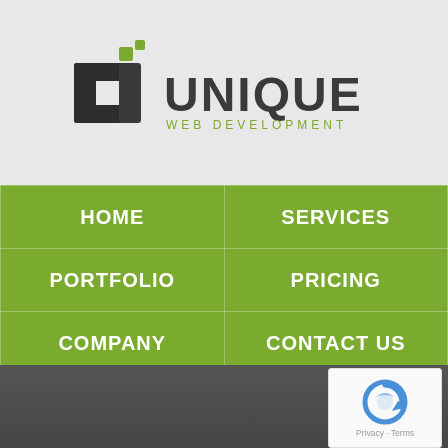[Figure (logo): Unique Web Development logo — stylized 'UD' monogram in dark grey/black with a green square pixel accent, followed by 'UNIQUE' in large bold dark grey letters and 'WEB DEVELOPMENT' in smaller green letters]
| HOME | SERVICES |
| PORTFOLIO | PRICING |
| COMPANY | CONTACT US |
Online Marketing Web Design
[Figure (logo): Google reCAPTCHA widget showing the reCAPTCHA logo (circular arrow icon in blue) with Privacy and Terms text below]